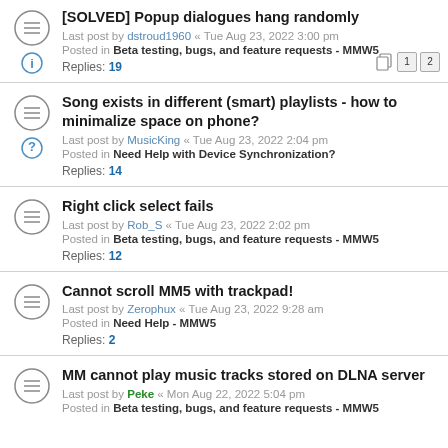[SOLVED] Popup dialogues hang randomly
Last post by dstroud1960 « Tue Aug 23, 2022 3:00 pm
Posted in Beta testing, bugs, and feature requests - MMW5
Replies: 19
Song exists in different (smart) playlists - how to minimalize space on phone?
Last post by MusicKing « Tue Aug 23, 2022 2:04 pm
Posted in Need Help with Device Synchronization?
Replies: 14
Right click select fails
Last post by Rob_S « Tue Aug 23, 2022 2:02 pm
Posted in Beta testing, bugs, and feature requests - MMW5
Replies: 12
Cannot scroll MM5 with trackpad!
Last post by Zerophux « Tue Aug 23, 2022 9:28 am
Posted in Need Help - MMW5
Replies: 2
MM cannot play music tracks stored on DLNA server
Last post by Peke « Mon Aug 22, 2022 5:04 pm
Posted in Beta testing, bugs, and feature requests - MMW5
Replies: ...